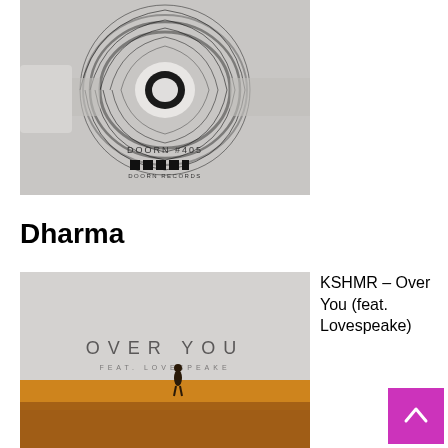[Figure (illustration): Album cover art for Doorn Records release #405, showing a dark spiral/vortex design with a white circle in the center, on a grey background. Text reads DOORN #405 and shows Doorn Records logo blocks.]
Dharma
[Figure (illustration): Album cover art for KSHMR – Over You feat. Lovespeake, showing a figure standing on a golden/amber desert landscape with text OVER YOU FEAT. LOVESPEAKE on a grey sky background.]
KSHMR – Over You (feat. Lovespeake)